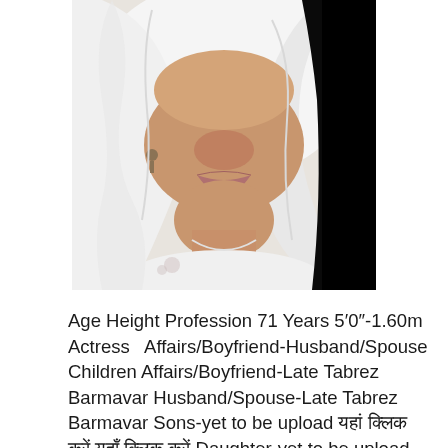[Figure (photo): Close-up photo of an elderly South Asian woman wearing a white dupatta/headscarf and white outfit, with earrings, partial face visible from nose down, dark background on right side]
Age Height Profession 71 Years 5′0″-1.60m Actress   Affairs/Boyfriend-Husband/Spouse Children Affairs/Boyfriend-Late Tabrez Barmavar Husband/Spouse-Late Tabrez Barmavar Sons-yet to be upload यहां क्लिक करें यहाँ क्लिक करें Daughter-yet to be upload यहां